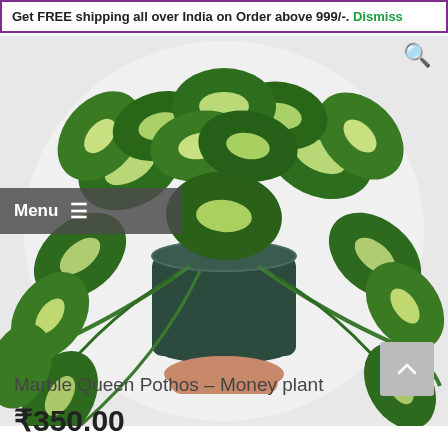Get FREE shipping all over India on Order above 999/-. Dismiss
[Figure (photo): Marble Queen Pothos (Money plant) with variegated green and cream leaves in a dark green round pot, held by a hand, on a white background. A 'Menu' hamburger button overlay is visible on the left side.]
Marble Queen Pothos – Money plant
₹350.00